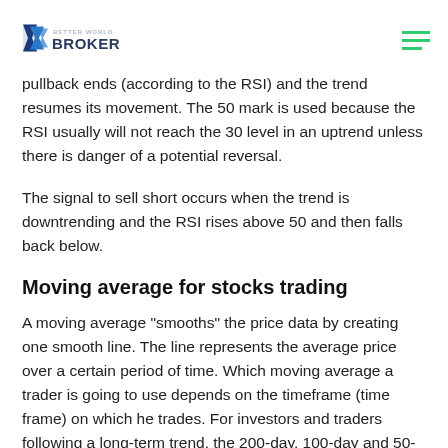Better World Broker
pullback ends (according to the RSI) and the trend resumes its movement. The 50 mark is used because the RSI usually will not reach the 30 level in an uptrend unless there is danger of a potential reversal.
The signal to sell short occurs when the trend is downtrending and the RSI rises above 50 and then falls back below.
Moving average for stocks trading
A moving average "smooths" the price data by creating one smooth line. The line represents the average price over a certain period of time. Which moving average a trader is going to use depends on the timeframe (time frame) on which he trades. For investors and traders following a long-term trend, the 200-day, 100-day and 50-day simple moving average are popular choices.